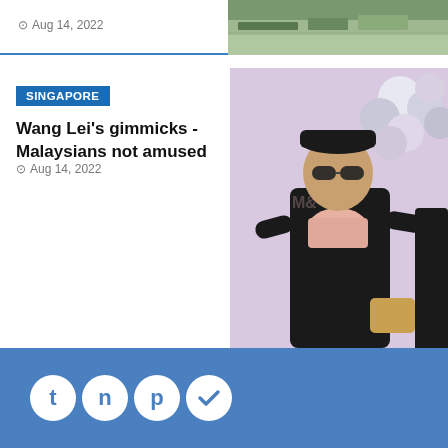Aug 14, 2022
[Figure (photo): Partial view of a building exterior with greenery]
SINGAPORE
Wang Lei's gimmicks - Malaysians not amused
Aug 14, 2022
[Figure (photo): Person wearing black outfit with pink bra top, sunglasses and cap, standing in front of balloon decoration display]
[Figure (logo): tnp logo with t, n, p letters in circles and a checkmark circle on blue background]